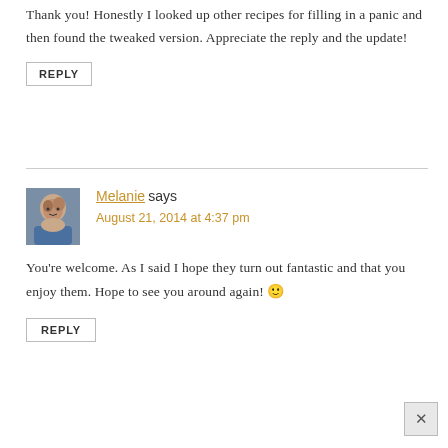Thank you! Honestly I looked up other recipes for filling in a panic and then found the tweaked version. Appreciate the reply and the update!
REPLY
Melanie says
August 21, 2014 at 4:37 pm
You're welcome. As I said I hope they turn out fantastic and that you enjoy them. Hope to see you around again! 🙂
REPLY